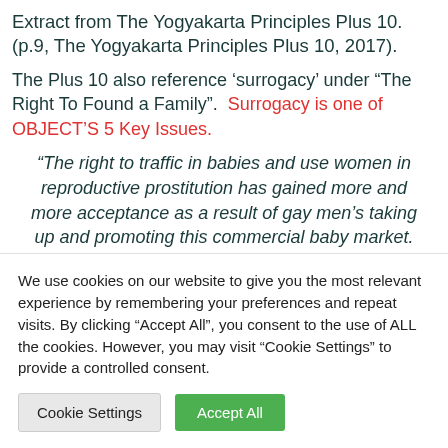Extract from The Yogyakarta Principles Plus 10. (p.9, The Yogyakarta Principles Plus 10, 2017).
The Plus 10 also reference 'surrogacy' under "The Right To Found a Family".  Surrogacy is one of OBJECT'S 5 Key Issues.
“The right to traffic in babies and use women in reproductive prostitution has gained more and more acceptance as a result of gay men’s taking up and promoting this commercial baby market. The embracing of ‘surrogacy’ makes it clear that the
We use cookies on our website to give you the most relevant experience by remembering your preferences and repeat visits. By clicking “Accept All”, you consent to the use of ALL the cookies. However, you may visit "Cookie Settings" to provide a controlled consent.